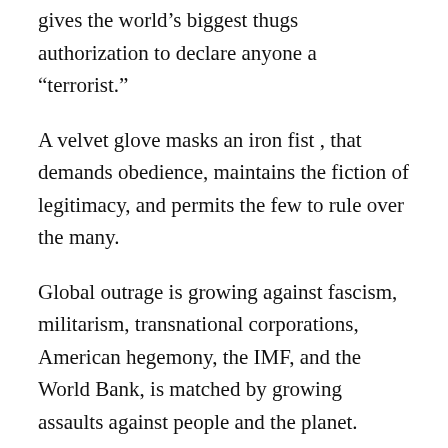gives the world’s biggest thugs authorization to declare anyone a “terrorist.”
A velvet glove masks an iron fist , that demands obedience, maintains the fiction of legitimacy, and permits the few to rule over the many.
Global outrage is growing against fascism, militarism, transnational corporations, American hegemony, the IMF, and the World Bank, is matched by growing assaults against people and the planet.
Throughout history, people have risen to challenge